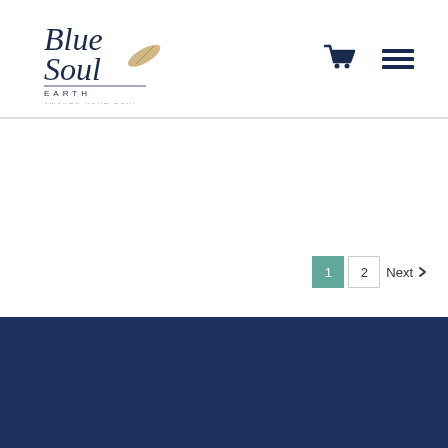[Figure (logo): Blue Soul Earth logo with feather pen, tagline 'AWAKEN YOUR SOUL']
[Figure (illustration): Shopping cart icon and hamburger menu icon in navy blue]
1  2  Next
RESOURCES
About Channeling
Site Map